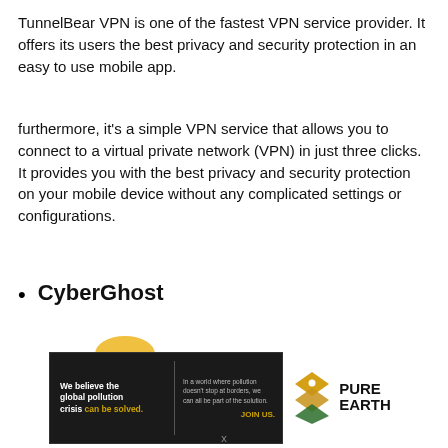TunnelBear VPN is one of the fastest VPN service provider. It offers its users the best privacy and security protection in an easy to use mobile app.
furthermore, it's a simple VPN service that allows you to connect to a virtual private network (VPN) in just three clicks. It provides you with the best privacy and security protection on your mobile device without any complicated settings or configurations.
CyberGhost
[Figure (other): Pure Earth advertisement banner with dark background. Left side reads: 'We believe the global pollution crisis can be solved.' with 'can be solved.' in yellow/gold. Middle text: 'In a world where pollution doesn't stop at borders, we can all be part of the solution.' with 'JOIN US.' in gold. Right side shows Pure Earth logo with diamond/chevron icon in gold and text 'PURE EARTH'.]
x